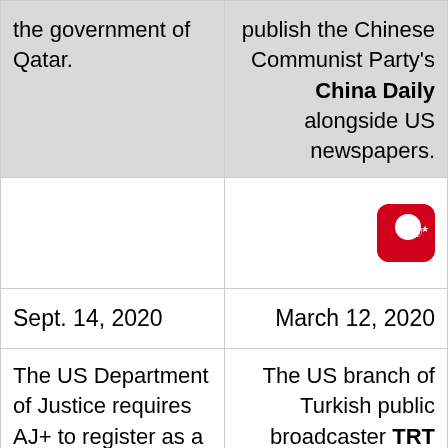the government of Qatar.
publish the Chinese Communist Party's China Daily alongside US newspapers.
[Figure (illustration): Turkish flag icon — red rounded square with white crescent and star]
Sept. 14, 2020
March 12, 2020
The US Department of Justice requires AJ+ to register as a
The US branch of Turkish public broadcaster TRT (Turkish Radio and